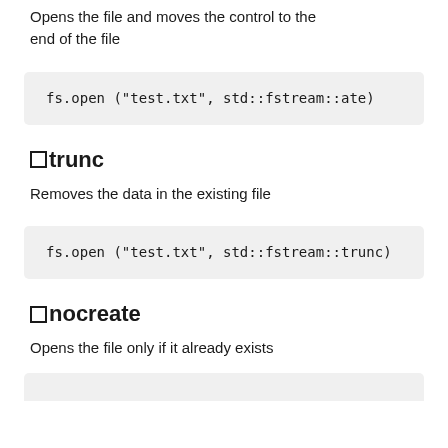Opens the file and moves the control to the end of the file
fs.open ("test.txt", std::fstream::ate)
trunc
Removes the data in the existing file
fs.open ("test.txt", std::fstream::trunc)
nocreate
Opens the file only if it already exists